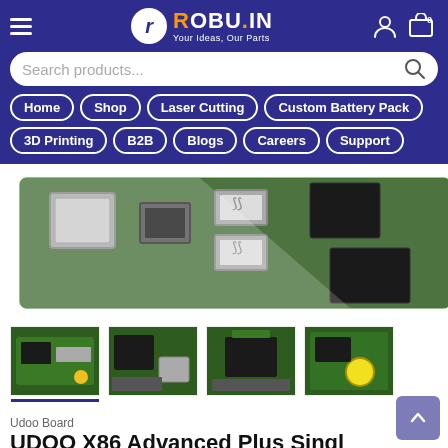[Figure (screenshot): Robu.in website header with hamburger menu, logo, search bar, and navigation buttons on purple background]
[Figure (photo): Close-up photo of a Udoo/Raspberry Pi style single board computer showing ethernet, HDMI, and USB ports on a green PCB]
[Figure (photo): Four thumbnail images of Udoo Board single board computers shown from different angles]
Udoo Board
UDOO X86 Advanced Plus Single...